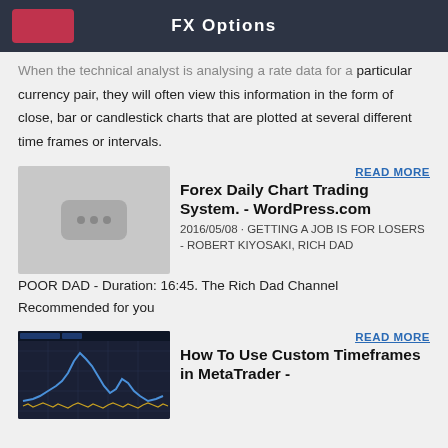FX Options
When the technical analyst is analysing a rate data for a particular currency pair, they will often view this information in the form of close, bar or candlestick charts that are plotted at several different time frames or intervals.
READ MORE
[Figure (screenshot): Thumbnail placeholder with three dots icon on gray background]
Forex Daily Chart Trading System. - WordPress.com
2016/05/08 · GETTING A JOB IS FOR LOSERS - ROBERT KIYOSAKI, RICH DAD POOR DAD - Duration: 16:45. The Rich Dad Channel Recommended for you
READ MORE
[Figure (screenshot): Screenshot of MetaTrader chart showing line chart with price movements]
How To Use Custom Timeframes in MetaTrader -